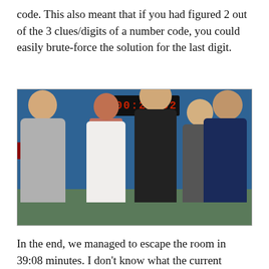code. This also meant that if you had figured 2 out of the 3 clues/digits of a number code, you could easily brute-force the solution for the last digit.
[Figure (photo): Group photo of five people standing together in a room with a blue wall. A digital timer on the wall shows 00:20:52. From left to right: a young man in a gray hoodie with arms crossed, a woman in a white jacket over a patterned top, a tall bald man in black behind the group, a woman in a gray top with a colorful beaded necklace, and a man in a dark navy top wearing glasses.]
In the end, we managed to escape the room in 39:08 minutes. I don't know what the current standing